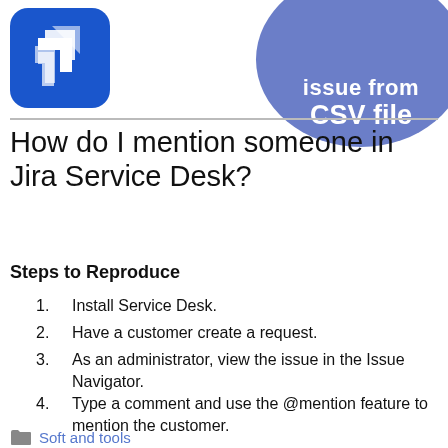[Figure (logo): Jira/Atlassian-style logo: blue rounded square with white arrow chevrons, and a blue circle badge with text 'issue from CSV file' partially visible]
How do I mention someone in Jira Service Desk?
Steps to Reproduce
Install Service Desk.
Have a customer create a request.
As an administrator, view the issue in the Issue Navigator.
Type a comment and use the @mention feature to mention the customer.
Soft and tools